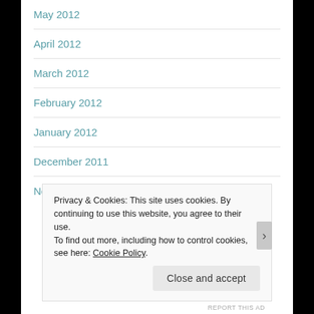May 2012
April 2012
March 2012
February 2012
January 2012
December 2011
November 2011
Privacy & Cookies: This site uses cookies. By continuing to use this website, you agree to their use.
To find out more, including how to control cookies, see here: Cookie Policy
REPORT THIS AD